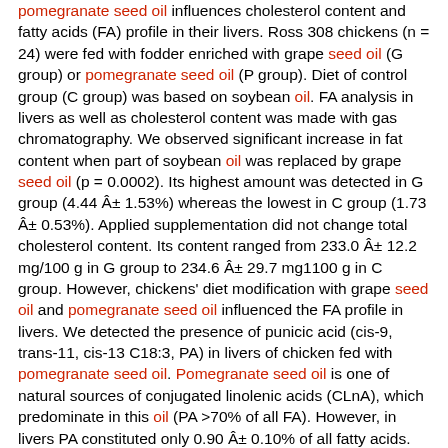pomegranate seed oil influences cholesterol content and fatty acids (FA) profile in their livers. Ross 308 chickens (n = 24) were fed with fodder enriched with grape seed oil (G group) or pomegranate seed oil (P group). Diet of control group (C group) was based on soybean oil. FA analysis in livers as well as cholesterol content was made with gas chromatography. We observed significant increase in fat content when part of soybean oil was replaced by grape seed oil (p = 0.0002). Its highest amount was detected in G group (4.44 ± 1.53%) whereas the lowest in C group (1.73 ± 0.53%). Applied supplementation did not change total cholesterol content. Its content ranged from 233.0 ± 12.2 mg/100 g in G group to 234.6 ± 29.7 mg1100 g in C group. However, chickens' diet modification with grape seed oil and pomegranate seed oil influenced the FA profile in livers. We detected the presence of punicic acid (cis-9, trans-11, cis-13 C18:3, PA) in livers of chicken fed with pomegranate seed oil. Pomegranate seed oil is one of natural sources of conjugated linolenic acids (CLnA), which predominate in this oil (PA >70% of all FA). However, in livers PA constituted only 0.90 ± 0.10% of all fatty acids. Furthermore, we detected substantial amounts of rumenic acid (cis-9, trans-11 C18:2, RA) - the major isomer of conjugated linoleic acids (CLA). Its natural sources in diet are meat and